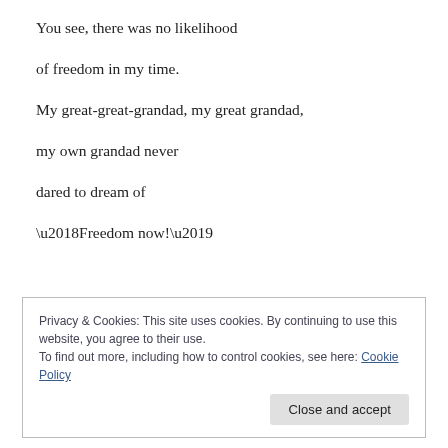You see, there was no likelihood
of freedom in my time.
My great-great-grandad, my great grandad,
my own grandad never
dared to dream of
‘Freedom now!’
Privacy & Cookies: This site uses cookies. By continuing to use this website, you agree to their use.
To find out more, including how to control cookies, see here: Cookie Policy